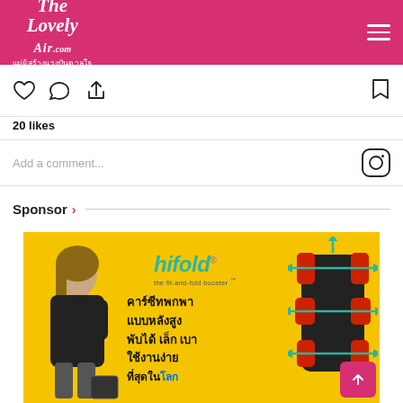The Lovely Air .com — แม่ผู้สร้างแรงบันดาลใจ
20 likes
Add a comment...
Sponsor ›
[Figure (photo): Advertisement for hifold the fit-and-fold booster car seat, yellow background, woman in black leather jacket, car seat product image with teal arrows showing adjustability, Thai text: คาร์ซีทพกพา แบบหลังสูง พับได้ เล็ก เบา ใช้งานง่าย ที่สุดในโลก]